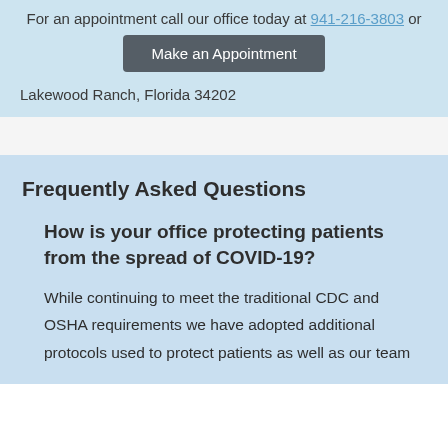For an appointment call our office today at 941-216-3803 or
Make an Appointment
Lakewood Ranch, Florida 34202
Frequently Asked Questions
How is your office protecting patients from the spread of COVID-19?
While continuing to meet the traditional CDC and OSHA requirements we have adopted additional protocols used to protect patients as well as our team